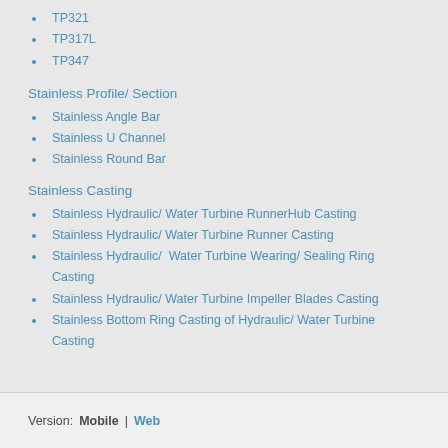TP321
TP317L
TP347
Stainless Profile/ Section
Stainless Angle Bar
Stainless U Channel
Stainless Round Bar
Stainless Casting
Stainless Hydraulic/ Water Turbine RunnerHub Casting
Stainless Hydraulic/ Water Turbine Runner Casting
Stainless Hydraulic/  Water Turbine Wearing/ Sealing Ring Casting
Stainless Hydraulic/ Water Turbine Impeller Blades Casting
Stainless Bottom Ring Casting of Hydraulic/ Water Turbine Casting
Version:  Mobile | Web